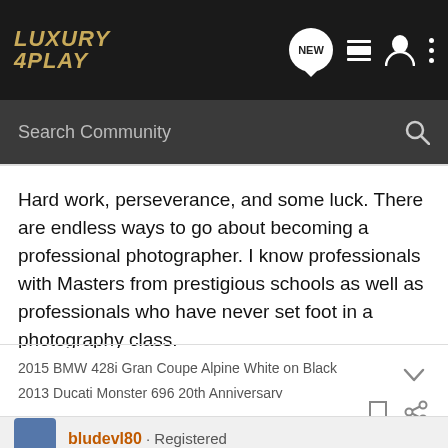[Figure (logo): Luxury 4 Play forum logo in gold italic text on dark background with navigation icons]
Search Community
Hard work, perseverance, and some luck. There are endless ways to go about becoming a professional photographer. I know professionals with Masters from prestigious schools as well as professionals who have never set foot in a photography class.
2015 BMW 428i Gran Coupe Alpine White on Black
2013 Ducati Monster 696 20th Anniversary
bludevl80 · Registered